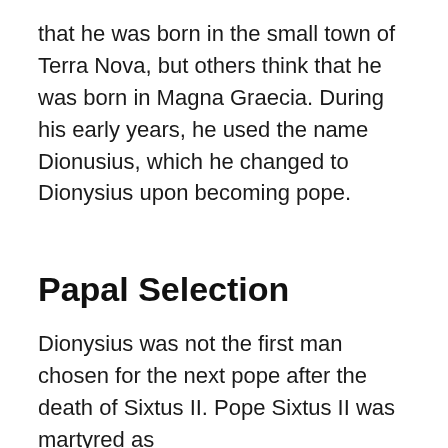that he was born in the small town of Terra Nova, but others think that he was born in Magna Graecia. During his early years, he used the name Dionusius, which he changed to Dionysius upon becoming pope.
Papal Selection
Dionysius was not the first man chosen for the next pope after the death of Sixtus II. Pope Sixtus II was martyred as